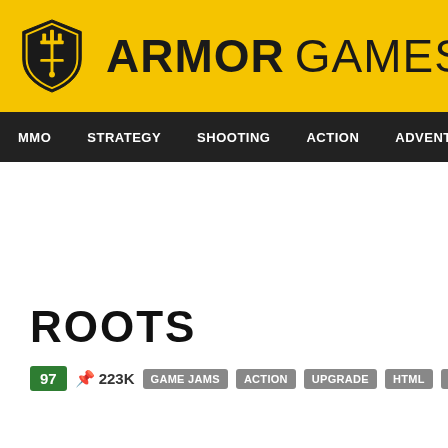[Figure (logo): Armor Games logo — yellow header bar with shield icon and ARMOR GAMES text in bold]
MMO  STRATEGY  SHOOTING  ACTION  ADVENTURE  P
ROOTS
97  📌 223K  GAME JAMS  ACTION  UPGRADE  HTML  MOUSE ONLY